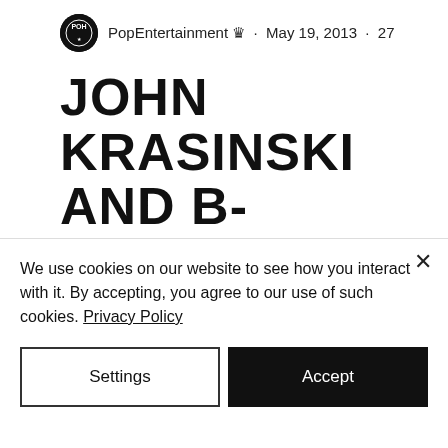PopEntertainment · May 19, 2013 · 27
JOHN KRASINSKI AND B- DOWN THE OFFICE
Updated: Jul 13, 2021
[Figure (photo): Gray-toned photo, partially visible, showing an indistinct scene with some text-like overlay in bottom right]
We use cookies on our website to see how you interact with it. By accepting, you agree to our use of such cookies. Privacy Policy
Settings
Accept